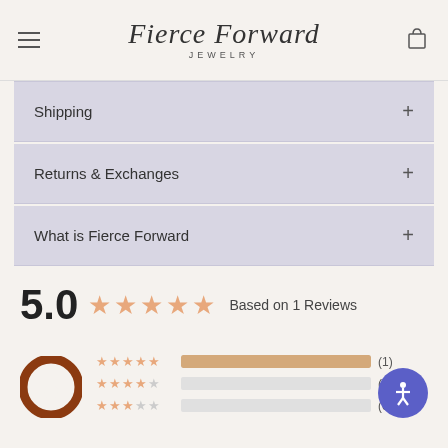Fierce Forward JEWELRY
Shipping +
Returns & Exchanges +
What is Fierce Forward +
5.0  ★★★★★  Based on 1 Reviews
[Figure (infographic): Review logo (brown circular speech bubble icon) alongside star rating bars: 5-star (1), 4-star (0), 3-star (0)]